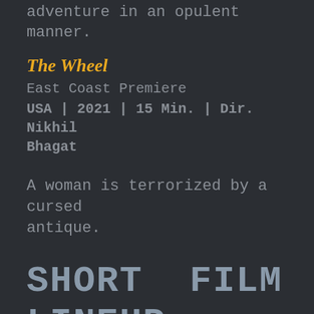adventure in an opulent manner.
The Wheel
East Coast Premiere
USA | 2021 | 15 Min. | Dir. Nikhil Bhagat
A woman is terrorized by a cursed antique.
SHORT FILM LINEUP